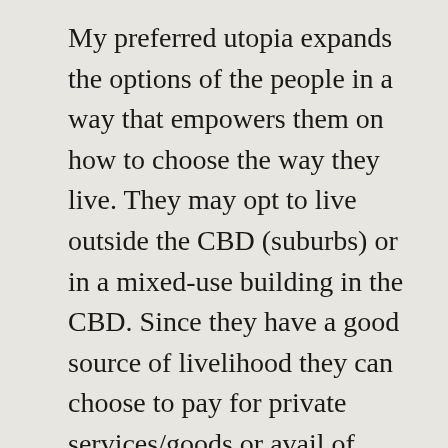My preferred utopia expands the options of the people in a way that empowers them on how to choose the way they live. They may opt to live outside the CBD (suburbs) or in a mixed-use building in the CBD. Since they have a good source of livelihood they can choose to pay for private services/goods or avail of government public services. The government listens and involves the people in pursuing new policies and development. Religious affiliations are respected. All segments of the society are considered in the development. People are the users, the owners, and the planners in the city development. The government and other private technical people only guide and basically act only as implementors of the goals